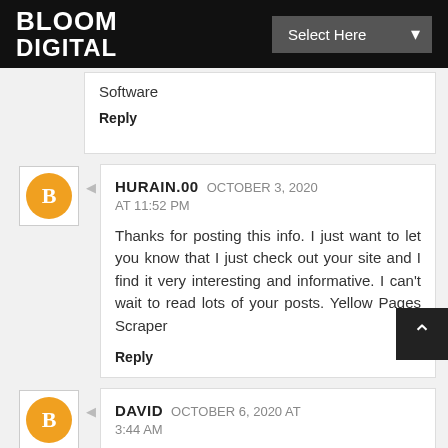BLOOM DIGITAL
Software
Reply
HURAIN.00  OCTOBER 3, 2020 AT 11:52 PM
Thanks for posting this info. I just want to let you know that I just check out your site and I find it very interesting and informative. I can't wait to read lots of your posts. Yellow Pages Scraper
Reply
DAVID  OCTOBER 6, 2020 AT 3:44 AM
Most email commercials utilize extraordinary offers, appealing